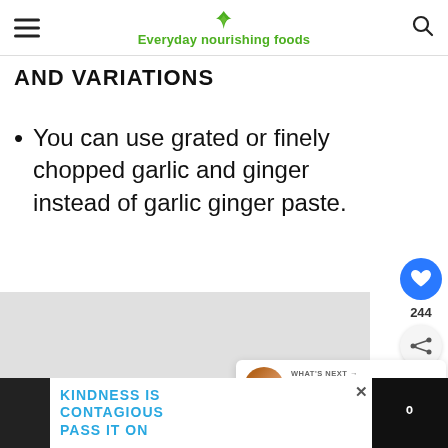Everyday nourishing foods
AND VARIATIONS
You can use grated or finely chopped garlic and ginger instead of garlic ginger paste.
[Figure (photo): Gray image placeholder region]
WHAT'S NEXT → Easy & Healthy Indi...
KINDNESS IS CONTAGIOUS PASS IT ON